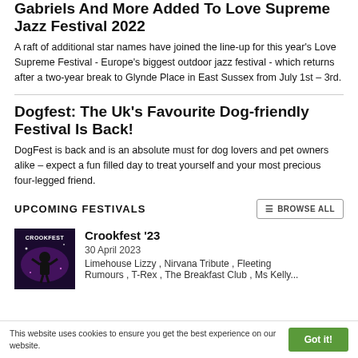Gabriels And More Added To Love Supreme Jazz Festival 2022
A raft of additional star names have joined the line-up for this year's Love Supreme Festival - Europe's biggest outdoor jazz festival - which returns after a two-year break to Glynde Place in East Sussex from July 1st – 3rd.
Dogfest: The Uk's Favourite Dog-friendly Festival Is Back!
DogFest is back and is an absolute must for dog lovers and pet owners alike – expect a fun filled day to treat yourself and your most precious four-legged friend.
UPCOMING FESTIVALS
BROWSE ALL
[Figure (photo): Crookfest '23 promotional image — dark purple/black background with silhouette figure and text 'CROOKFEST']
Crookfest '23
30 April 2023
Limehouse Lizzy , Nirvana Tribute , Fleeting Rumours , T-Rex , The Breakfast Club , Ms Kelly...
This website uses cookies to ensure you get the best experience on our website.
Got it!